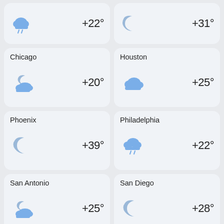[Figure (infographic): Weather card (partial top) - rain icon, +22°]
[Figure (infographic): Weather card (partial top) - crescent moon icon, +31°]
Chicago
[Figure (infographic): Chicago weather - cloudy night icon, +20°]
Houston
[Figure (infographic): Houston weather - cloudy icon, +25°]
Phoenix
[Figure (infographic): Phoenix weather - crescent moon icon, +39°]
Philadelphia
[Figure (infographic): Philadelphia weather - rain cloud icon, +22°]
San Antonio
[Figure (infographic): San Antonio weather - cloudy night icon, +25°]
San Diego
[Figure (infographic): San Diego weather - crescent moon icon, +28°]
Dallas
[Figure (infographic): Dallas weather - thunderstorm icon, +27°]
San Jose
[Figure (infographic): San Jose weather - crescent moon icon, +30°]
Austin
Detroit